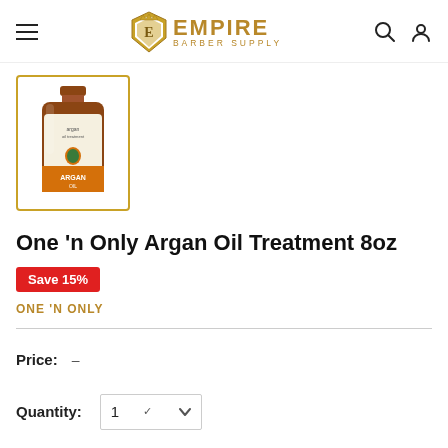Empire Barber Supply — navigation header with hamburger menu, logo, search icon, account icon
[Figure (photo): Product thumbnail of One 'n Only Argan Oil Treatment 8oz bottle in amber/brown plastic bottle with gold label, displayed in a gold-bordered thumbnail box]
One 'n Only Argan Oil Treatment 8oz
Save 15%
ONE 'N ONLY
Price: –
Quantity: 1